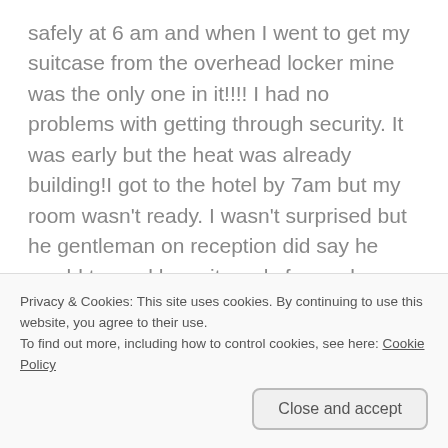safely at 6 am and when I went to get my suitcase from the overhead locker mine was the only one in it!!!! I had no problems with getting through security. It was early but the heat was already building!I got to the hotel by 7am but my room wasn't ready. I wasn't surprised but he gentleman on reception did say he would try and have it ready for me by 9:30. I was able to find a quiet table, ordered a cranberry juice and spent 2 hours blogging.
I was in my room by 10am and it was great to have some privacy and relax. I hung up all the clothes that
Privacy & Cookies: This site uses cookies. By continuing to use this website, you agree to their use.
To find out more, including how to control cookies, see here: Cookie Policy
Close and accept